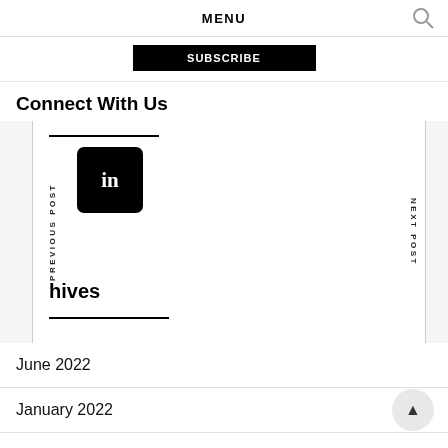MENU
[Figure (other): Subscribe button (black bar with partially obscured text)]
Connect With Us
[Figure (other): Navigation panel with PREVIOUS POST label on left, NEXT POST label on right, LinkedIn icon (black rounded square with 'in'), Archives section heading, horizontal rules, all on light gray background]
June 2022
January 2022